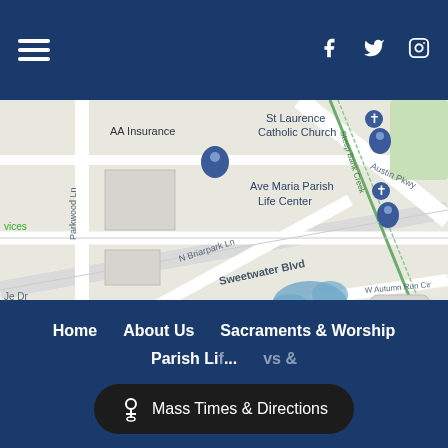[Figure (screenshot): Website header bar with hamburger menu icon on left and Facebook, Twitter, Instagram social media icons on right, dark navy blue background]
[Figure (map): Google Maps screenshot showing area around St Laurence Catholic Church and Ave Maria Parish Life Center, with streets including Sweetwater Blvd, N Briarpark Ln, Parkwood Ln, Austin Pkwy, W Autumn Run Cir, and landmarks AA Insurance, Fort Bend ISD Administration Annex, Area Patrol]
[Figure (screenshot): Website footer with dark navy blue background, navigation links: Home, About Us, Sacraments & Worship, Parish Life, and a floating Mass Times & Directions pill button at the bottom center]